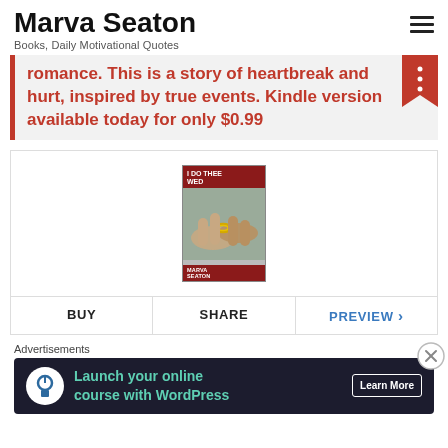Marva Seaton
Books, Daily Motivational Quotes
romance. This is a story of heartbreak and hurt, inspired by true events. Kindle version available today for only $0.99
[Figure (photo): Book cover for 'I Do Thee Wed' by Marva Seaton, red cover with wedding ring photo]
BUY   SHARE   PREVIEW >
Advertisements
[Figure (infographic): Advertisement banner: Launch your online course with WordPress - Learn More]